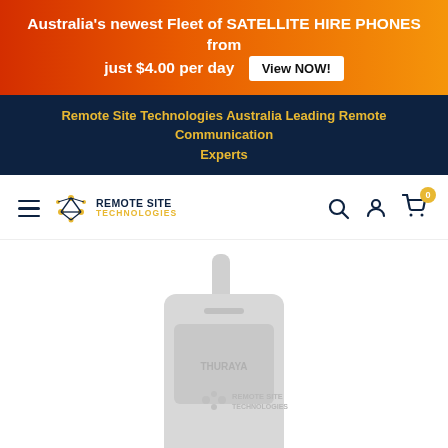Australia's newest Fleet of SATELLITE HIRE PHONES from just $4.00 per day  View NOW!
Remote Site Technologies Australia Leading Remote Communication Experts
[Figure (logo): Remote Site Technologies logo with network node icon, hamburger menu, search icon, user icon, and cart icon with badge '0']
[Figure (photo): Thuraya satellite phone with Remote Site Technologies branding overlay, shown in light grey/faded style]